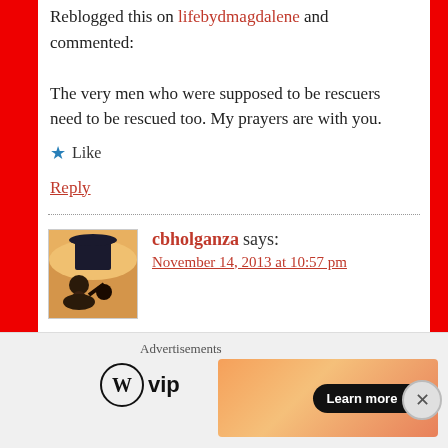Reblogged this on lifebydmagdalene and commented:
The very men who were supposed to be rescuers need to be rescued too. My prayers are with you.
★ Like
Reply
cbholganza says:
November 14, 2013 at 10:57 pm
Advertisements
[Figure (logo): WordPress VIP logo with circular W icon and 'vip' text]
[Figure (other): Orange gradient advertisement banner with 'Learn more →' button]